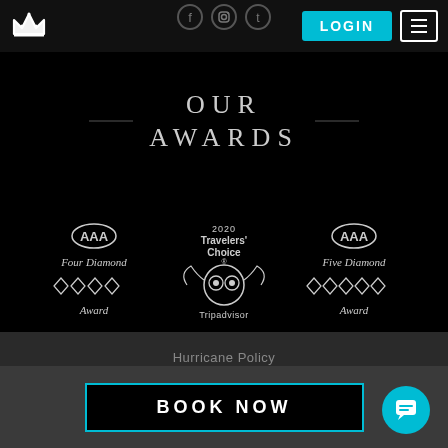[Figure (logo): Crown logo (white) in nav bar top left]
[Figure (logo): Social media icons (Facebook, Instagram, Twitter) at top center]
[Figure (logo): LOGIN cyan button and hamburger menu icon in nav bar top right]
OUR AWARDS
[Figure (logo): AAA Four Diamond Award logo with four diamonds]
[Figure (logo): 2020 Travelers' Choice Tripadvisor award logo]
[Figure (logo): AAA Five Diamond Award logo with five diamonds]
Hurricane Policy
BOOK NOW